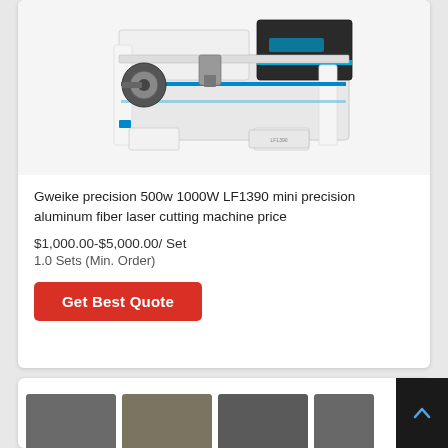[Figure (photo): Gweike LF1390 fiber laser cutting machine, white and black body with blue accent stripes, rotary attachment visible on left side]
Gweike precision 500w 1000W LF1390 mini precision aluminum fiber laser cutting machine price
$1,000.00-$5,000.00/ Set
1.0 Sets (Min. Order)
Get Best Quote
[Figure (photo): Bottom card showing thumbnail images of laser cutting machine products, partially visible]